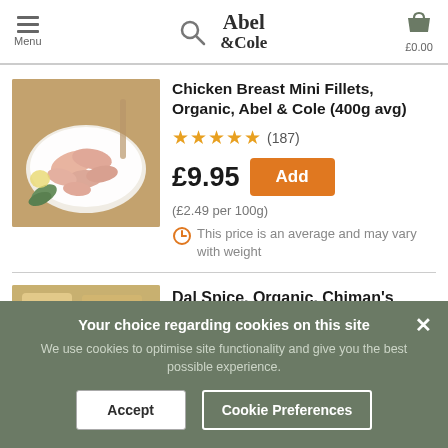Abel & Cole — Menu, Search, Basket £0.00
[Figure (photo): Raw chicken breast mini fillets on a white plate with garnish on a wooden board]
Chicken Breast Mini Fillets, Organic, Abel & Cole (400g avg)
★★★★★ (187)
£9.95   Add
(£2.49 per 100g)
This price is an average and may vary with weight
Dal Spice, Organic, Chiman's
Your choice regarding cookies on this site
We use cookies to optimise site functionality and give you the best possible experience.
Accept   Cookie Preferences